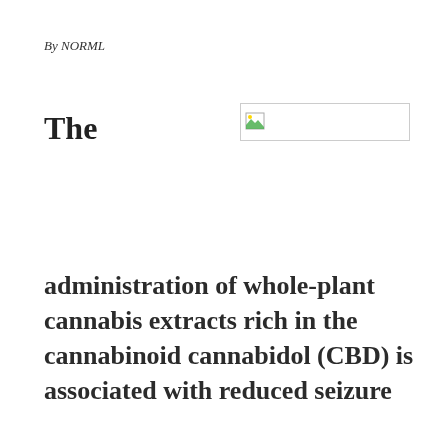By NORML
The
[Figure (other): Broken/missing image placeholder with small icon]
administration of whole-plant cannabis extracts rich in the cannabinoid cannabidol (CBD) is associated with reduced seizure